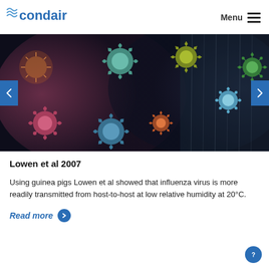[Figure (logo): Condair logo with wave graphic and blue text]
[Figure (photo): Colorful microscopic virus particles floating on a dark background with condensation on glass]
Lowen et al 2007
Using guinea pigs Lowen et al showed that influenza virus is more readily transmitted from host-to-host at low relative humidity at 20°C.
Read more